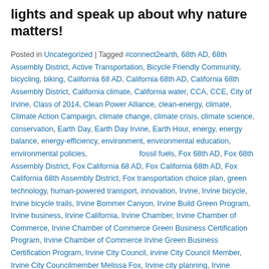lights and speak up about why nature matters!
Posted in Uncategorized | Tagged #connect2earth, 68th AD, 68th Assembly District, Active Transportation, Bicycle Friendly Community, bicycling, biking, California 68 AD, California 68th AD, California 68th Assembly District, California climate, California water, CCA, CCE, City of Irvine, Class of 2014, Clean Power Alliance, clean-energy, climate, Climate Action Campaign, climate change, climate crisis, climate science, conservation, Earth Day, Earth Day Irvine, Earth Hour, energy, energy balance, energy-efficiency, environment, environmental education, environmental policies, fossil fuels, Fox 68th AD, Fox 68th Assembly District, Fox California 68 AD, Fox California 68th AD, Fox California 68th Assembly District, Fox transportation choice plan, green technology, human-powered transport, innovation, Irvine, Irvine bicycle, Irvine bicycle trails, Irvine Bommer Canyon, Irvine Build Green Program, Irvine business, Irvine California, Irvine Chamber, Irvine Chamber of Commerce, Irvine Chamber of Commerce Green Business Certification Program, Irvine Chamber of Commerce Irvine Green Business Certification Program, Irvine City Council, irvine City Council Member, Irvine City Councilmember Melissa Fox, Irvine city planning, Irvine community, Irvine economy, Irvine employment, Irvine energy, Irvine environment, Irvine environmental programs, Irvine environmental success, Irvine family, Irvine green business, Irvine Green Business Certification Program, Irvine green business practices, Irvine green businesses, Irvine green programs, Irvine Green Ribbon Environmental Committee, Irvine green space, Irvine green tech, Irvine green technology, Irvine health, Irvine hiking trails, Irvine industry, Irvine infrastructure, Irvine innovation, Irvine job market, Irvine jobs, Irvine maps, Irvine Master Plan, Irvine Melissa Fox, Irvine open space, Irvine Open